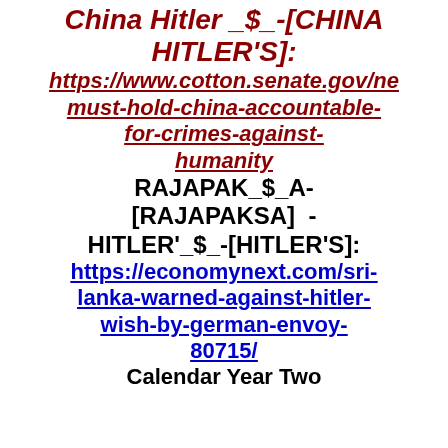China Hitler _$_-[CHINA HITLER'S]:
https://www.cotton.senate.gov/news/press-releases/us-must-hold-china-accountable-for-crimes-against-humanity
RAJAPAK_$_A-[RAJAPAKSA] - HITLER'_$_-[HITLER'S]:
https://economynext.com/sri-lanka-warned-against-hitler-wish-by-german-envoy-80715/
Calendar Year Two